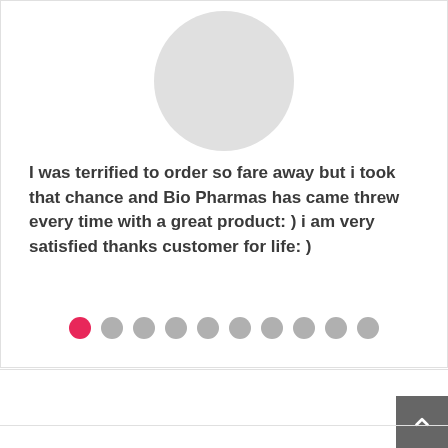[Figure (illustration): Gray circular avatar placeholder image centered near top of card]
I was terrified to order so fare away but i took that chance and Bio Pharmas has came threw every time with a great product: ) i am very satisfied thanks customer for life: )
[Figure (other): Carousel navigation dots: first dot is pink/active, remaining nine dots are gray]